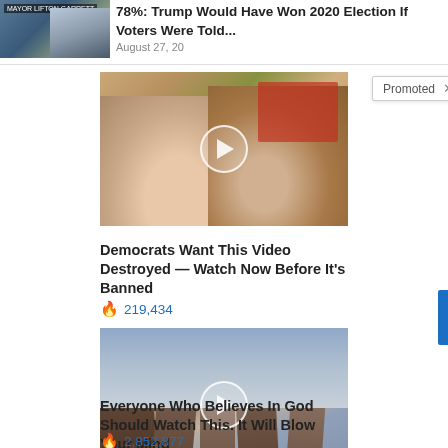[Figure (screenshot): Partial news article thumbnail with person in suit, partially visible headline]
78%: Trump Would Have Won 2020 Election If Voters Were Told...
August 27, 20...
Promoted ×
[Figure (photo): Video thumbnail showing couple, Melania and Donald Trump, with play button overlay]
Democrats Want This Video Destroyed — Watch Now Before It's Banned
🔥 219,434
[Figure (photo): Video thumbnail showing crosses/cemetery scene with mountains and sky, with play button overlay]
Everyone Who Believes In God Should Watch This. It Will Blow Your Mind
🔥 2,852,877